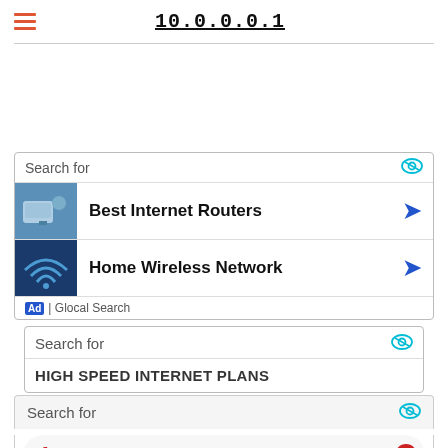10.0.0.0.1
[Figure (infographic): Ad box with 'Search for' header and two ad rows: 'Best Internet Routers' and 'Home Wireless Network' with thumbnail images and chevron arrows. Footer shows 'Ad | Glocal Search'.]
[Figure (infographic): Partial ad box showing 'Search for' and truncated 'HIGH SPEED INTERNET PLANS' row.]
Search for
1  HIGH SPEED INTERNET PLANS
2  BEST BROADBAND BY AREA